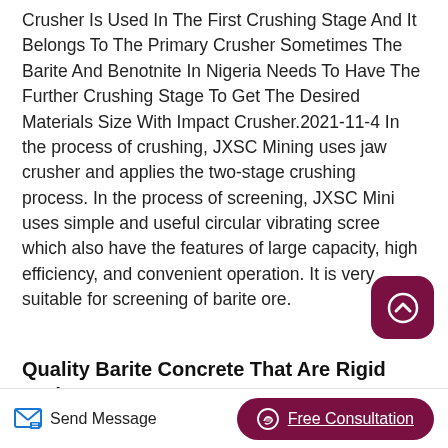Crusher Is Used In The First Crushing Stage And It Belongs To The Primary Crusher Sometimes The Barite And Benotnite In Nigeria Needs To Have The Further Crushing Stage To Get The Desired Materials Size With Impact Crusher.2021-11-4 In the process of crushing, JXSC Mining uses jaw crusher and applies the two-stage crushing process. In the process of screening, JXSC Mining uses simple and useful circular vibrating screen which also have the features of large capacity, high efficiency, and convenient operation. It is very suitable for screening of barite ore.
Quality Barite Concrete That Are Rigid And
Send Message   Free Consultation